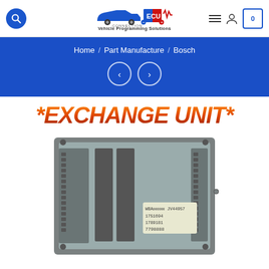ECU Connection — Vehicle Programming Solutions | Header with search, logo, nav icons, cart
Home / Part Manufacture / Bosch
*EXCHANGE UNIT*
[Figure (photo): Photograph of a Bosch ECU (Engine Control Unit) module, grey metal housing with multiple connector slots and a label reading WBA JV44957, 1751694, 1789181, 7798888]